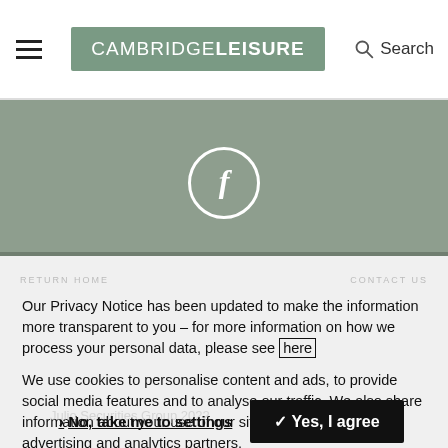CAMBRIDGELEISURE  Search
[Figure (illustration): Cambridge Leisure Facebook page banner showing a circular Facebook icon in white on a grey/green background]
Our Privacy Notice has been updated to make the information more transparent to you – for more information on how we process your personal data, please see here
We use cookies to personalise content and ads, to provide social media features and to analyse our traffic. We also share information about your use of our site with our social media, advertising and analytics partners.
❯ No, take me to settings   ✓ Yes, I agree